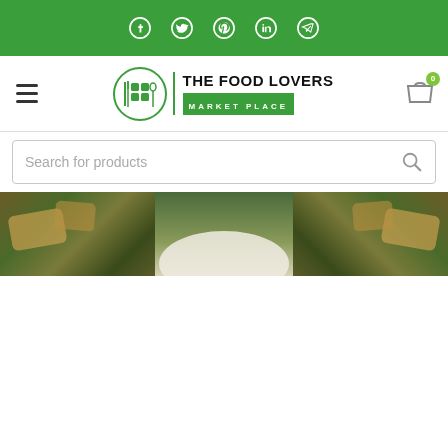Social media icons bar: Facebook, Twitter, Pinterest, LinkedIn, Telegram
[Figure (logo): The Food Lovers Market Place logo with green circle icon and text]
Search for products
[Figure (photo): Banner image showing food items including herbs, bread, and a white plate in the center]